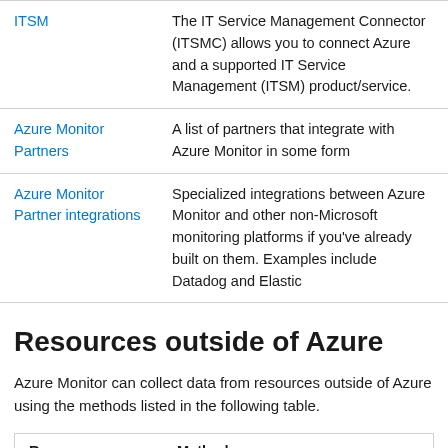|  |  |
| --- | --- |
| ITSM | The IT Service Management Connector (ITSMC) allows you to connect Azure and a supported IT Service Management (ITSM) product/service. |
| Azure Monitor Partners | A list of partners that integrate with Azure Monitor in some form |
| Azure Monitor Partner integrations | Specialized integrations between Azure Monitor and other non-Microsoft monitoring platforms if you've already built on them. Examples include Datadog and Elastic |
Resources outside of Azure
Azure Monitor can collect data from resources outside of Azure using the methods listed in the following table.
| Resource | Method |
| --- | --- |
| ... | ... |